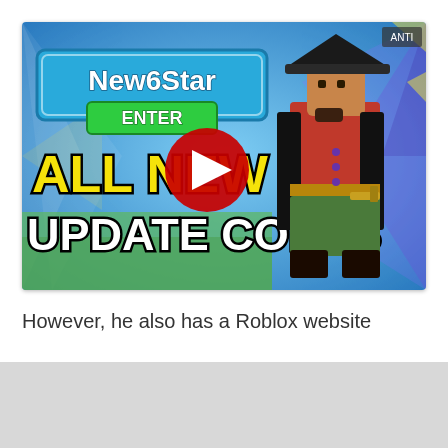[Figure (screenshot): YouTube video thumbnail for a Roblox game showing text 'New6Star ENTER' in a blue banner with green button, 'ALL NEW UPDATE CODES' in large yellow and white text, a Roblox character dressed as a pirate with red coat and black hat, a YouTube play button overlay in the center, and colorful starburst background.]
However, he also has a Roblox website